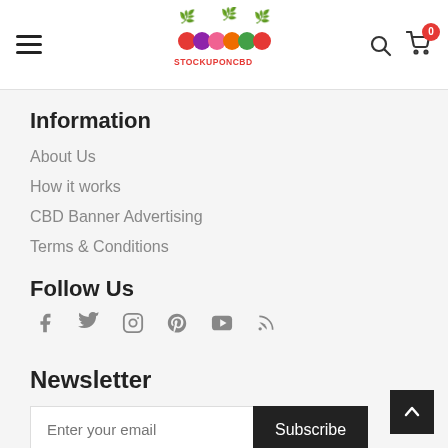STOCKUPONCBD — navigation header with hamburger menu, logo, search and cart icons
Information
About Us
How it works
CBD Banner Advertising
Terms & Conditions
Follow Us
[Figure (infographic): Social media icons: Facebook, Twitter, Instagram, Pinterest, YouTube, RSS]
Newsletter
Enter your email — Subscribe button